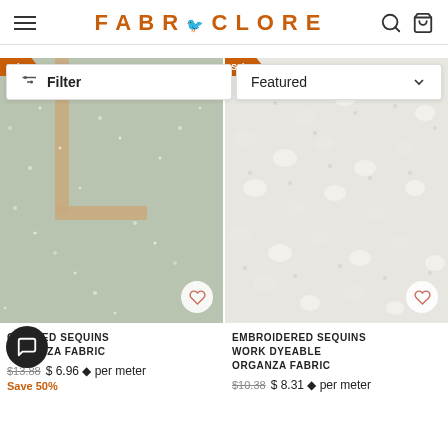FABRICLORE
Filter
Featured
[Figure (photo): Close-up of green/sage embroidered sequins organza fabric with a wooden frame visible, Sale badge in top left corner]
[Figure (photo): Close-up of white embroidered sequins work dyeable organza fabric, Sale badge in top left corner]
EMBROIDERED SEQUINS ORGANZA FABRIC
$13.88  $6.96 per meter
Save 50%
EMBROIDERED SEQUINS WORK DYEABLE ORGANZA FABRIC
$10.38  $8.31 per meter